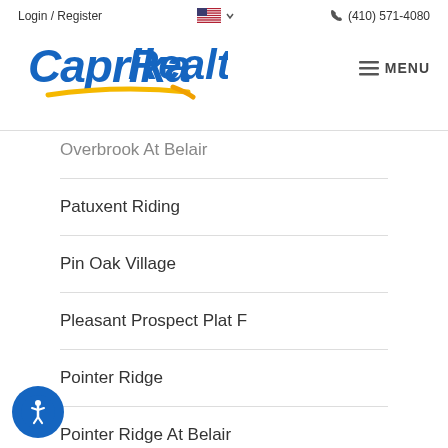Login / Register  (410) 571-4080  Caprika Realty  MENU
Overbrook At Belair
Patuxent Riding
Pin Oak Village
Pleasant Prospect Plat F
Pointer Ridge
Pointer Ridge At Belair
Pointer Ridge At Collington
Preserve At Woodmore Estates